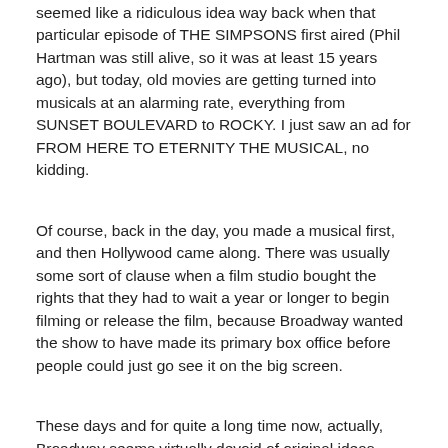seemed like a ridiculous idea way back when that particular episode of THE SIMPSONS first aired (Phil Hartman was still alive, so it was at least 15 years ago), but today, old movies are getting turned into musicals at an alarming rate, everything from SUNSET BOULEVARD to ROCKY. I just saw an ad for FROM HERE TO ETERNITY THE MUSICAL, no kidding.
Of course, back in the day, you made a musical first, and then Hollywood came along. There was usually some sort of clause when a film studio bought the rights that they had to wait a year or longer to begin filming or release the film, because Broadway wanted the show to have made its primary box office before people could just go see it on the big screen.
These days and for quite a long time now, actually, Broadway seems virtually devoid of original ideas. Everything's either an adaptation of a movie, a TV show, a comic book or the works of a pop/rock songwriter.
(I guess the same argument could be made about most Hollywood